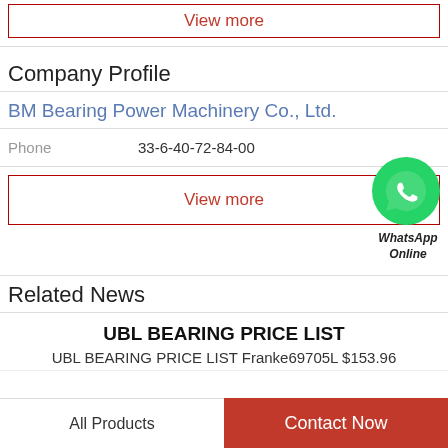View more
Company Profile
BM Bearing Power Machinery Co., Ltd.
Phone   33-6-40-72-84-00
View more
[Figure (illustration): WhatsApp green phone bubble icon with text 'WhatsApp Online' below]
Related News
UBL BEARING PRICE LIST
UBL BEARING PRICE LIST Franke69705L $153.96
All Products    Contact Now